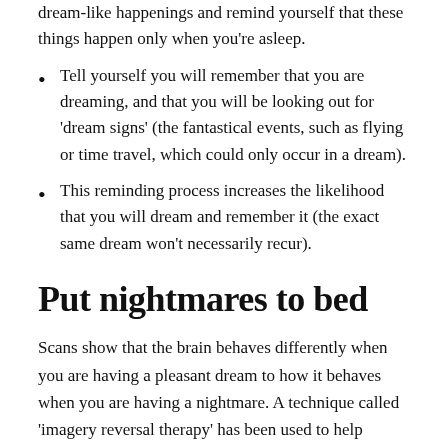dream-like happenings and remind yourself that these things happen only when you're asleep.
Tell yourself you will remember that you are dreaming, and that you will be looking out for 'dream signs' (the fantastical events, such as flying or time travel, which could only occur in a dream).
This reminding process increases the likelihood that you will dream and remember it (the exact same dream won't necessarily recur).
Put nightmares to bed
Scans show that the brain behaves differently when you are having a pleasant dream to how it behaves when you are having a nightmare. A technique called 'imagery reversal therapy' has been used to help people with post-traumatic stress disorder ease